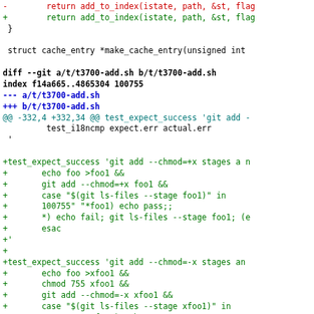[Figure (screenshot): Git diff output showing code changes with colored lines: red for removed lines, green for added lines, blue/bold for diff headers, and cyan for hunk headers. The diff is for file t/t3700-add.sh showing new test cases for git add --chmod functionality.]